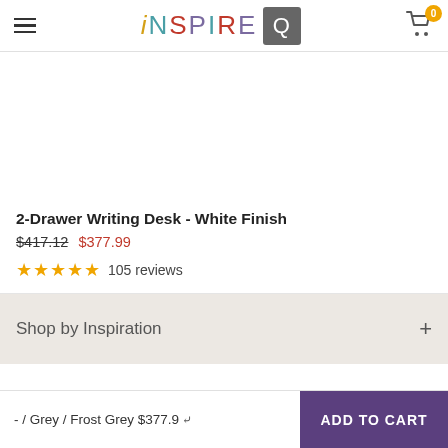[Figure (logo): iNSPIRE Q logo with multicolor letters and grey square Q badge, hamburger menu icon on left, shopping cart with badge showing 0 on right]
[Figure (photo): Product image area (white/blank) for 2-Drawer Writing Desk]
2-Drawer Writing Desk - White Finish
$417.12  $377.99
★★★★★  105 reviews
Shop by Inspiration  +
- / Grey / Frost Grey $377.9  ˅  ADD TO CART